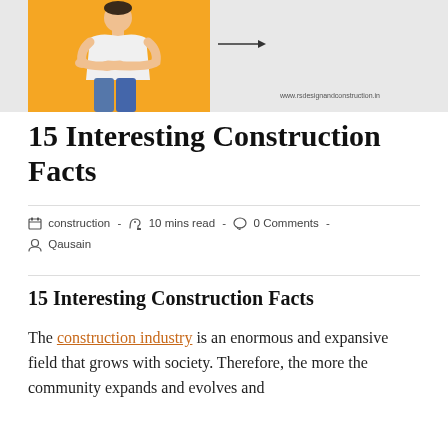[Figure (illustration): Blog header image showing a man with arms crossed on an orange background, with a right-pointing arrow and watermark 'www.rsdesignandconstruction.in']
15 Interesting Construction Facts
construction  -  10 mins read  -  0 Comments  -  Qausain
15 Interesting Construction Facts
The construction industry is an enormous and expansive field that grows with society. Therefore, the more the community expands and evolves and